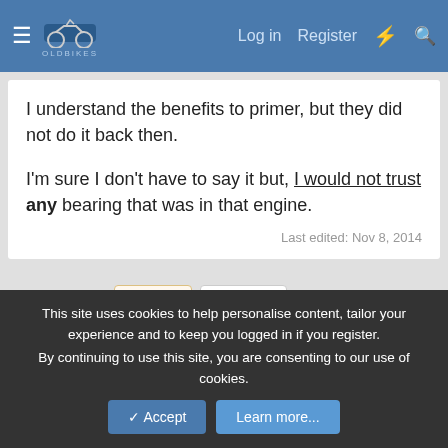OldBikes forum header with Log in, Register, and search links
I understand the benefits to primer, but they did not do it back then.

I'm sure I don't have to say it but, I would not trust any bearing that was in that engine.

Last edited: Nov 8, 2014
1 of 2  Next  ▶▶
You must log in or register to reply here.
Share:
This site uses cookies to help personalise content, tailor your experience and to keep you logged in if you register.
By continuing to use this site, you are consenting to our use of cookies.
Accept  Learn more...